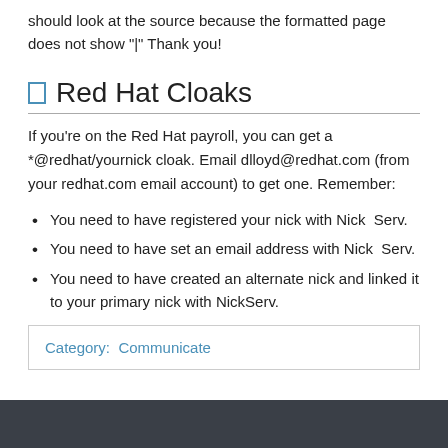should look at the source because the formatted page does not show "|" Thank you!
Red Hat Cloaks
If you're on the Red Hat payroll, you can get a *@redhat/yournick cloak. Email dlloyd@redhat.com (from your redhat.com email account) to get one. Remember:
You need to have registered your nick with NickServ.
You need to have set an email address with NickServ.
You need to have created an alternate nick and linked it to your primary nick with NickServ.
Category:  Communicate